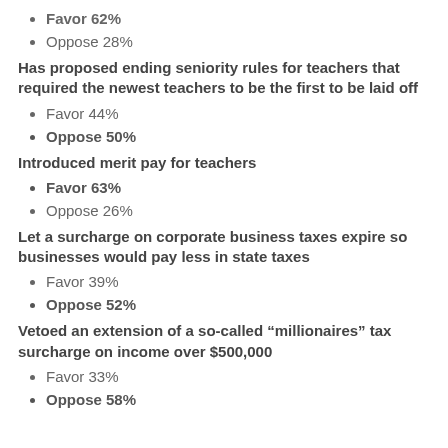Favor 62%
Oppose 28%
Has proposed ending seniority rules for teachers that required the newest teachers to be the first to be laid off
Favor 44%
Oppose 50%
Introduced merit pay for teachers
Favor 63%
Oppose 26%
Let a surcharge on corporate business taxes expire so businesses would pay less in state taxes
Favor 39%
Oppose 52%
Vetoed an extension of a so-called “millionaires” tax surcharge on income over $500,000
Favor 33%
Oppose 58%